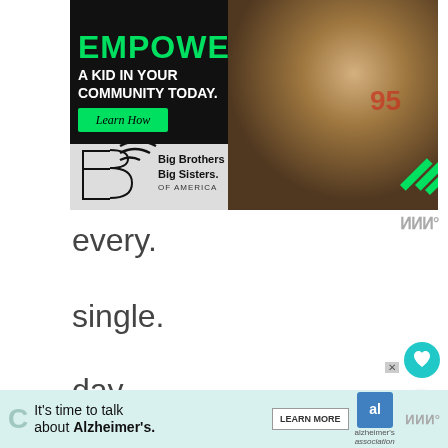[Figure (illustration): Big Brothers Big Sisters of America advertisement. Left side black background with green text 'EMPOWER' and white text 'A KID IN YOUR COMMUNITY TODAY.' and a green 'Learn How' button. Right side photo of an adult man and a boy working on a robotics project.]
every.
single.
day.
[Figure (illustration): Alzheimer's Association advertisement banner: 'It's time to talk about Alzheimer's.' with a LEARN MORE button and Alzheimer's Association logo. A close/X button is visible.]